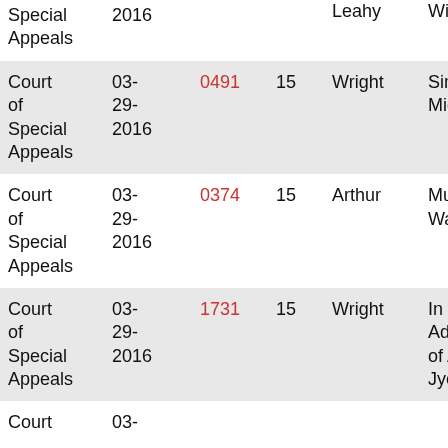| Court | Date | Case No. | Col4 | Judge | Case Name |
| --- | --- | --- | --- | --- | --- |
| Court of Special Appeals | 03-29-2016 | 0368 (truncated) | 14 (truncated) | Leahy | Wi... (truncated) |
| Court of Special Appeals | 03-29-2016 | 0491 | 15 | Wright | Sim... Mic... |
| Court of Special Appeals | 03-29-2016 | 0374 | 15 | Arthur | Mu... Wa... |
| Court of Special Appeals | 03-29-2016 | 1731 | 15 | Wright | In r... Ad... of... Jye... |
| Court (truncated) | 03- (truncated) |  |  |  |  |